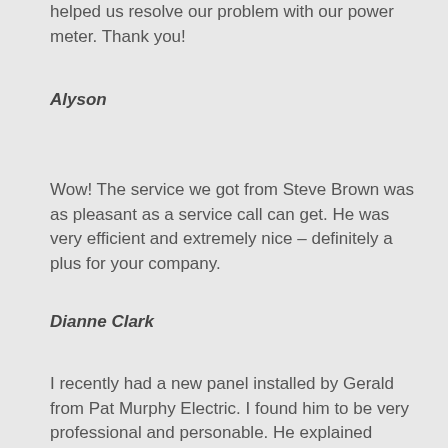helped us resolve our problem with our power meter. Thank you!
Alyson
Wow! The service we got from Steve Brown was as pleasant as a service call can get. He was very efficient and extremely nice – definitely a plus for your company.
Dianne Clark
I recently had a new panel installed by Gerald from Pat Murphy Electric. I found him to be very professional and personable. He explained everything that